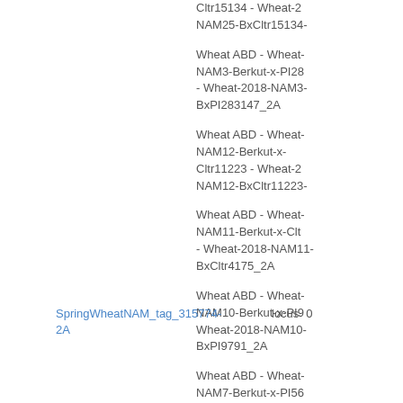Cltr15134 - Wheat-2018-NAM25-BxCltr15134-2A
Wheat ABD - Wheat-NAM3-Berkut-x-PI283147 - Wheat-2018-NAM3-BxPI283147_2A
Wheat ABD - Wheat-NAM12-Berkut-x-Cltr11223 - Wheat-2018-NAM12-BxCltr11223-2A
Wheat ABD - Wheat-NAM11-Berkut-x-Cltr4175 - Wheat-2018-NAM11-BxCltr4175_2A
Wheat ABD - Wheat-NAM10-Berkut-x-PI9791 - Wheat-2018-NAM10-BxPI9791_2A
Wheat ABD - Wheat-NAM7-Berkut-x-PI565213 - Wheat-2018-NAM7-BxPI565213_2A
Wheat ABD - Wheat-NAM29-Berkut-x-PI220431 - Wheat-2018-NAM29-BxPI220431-2A
SpringWheatNAM_tag_315774-2A   locus   0